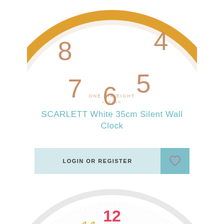[Figure (photo): Top portion of a white wall clock with gold/orange circular frame and rose-gold numerals (4, 5, 6, 7, 8 visible), white face, partial crop showing bottom half of clock]
SCARLETT White 35cm Silent Wall Clock
LOGIN OR REGISTER
[Figure (photo): Top portion of a colorful children's wall clock with white frame, multicolored numerals (9, 10, 11, 12, 1, 2, 3 visible in pink, yellow, green, purple, blue), white face, colorful hands]